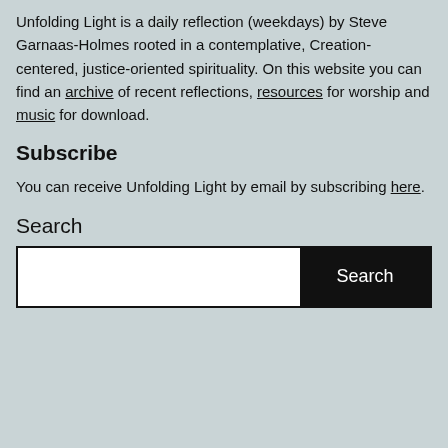Unfolding Light is a daily reflection (weekdays) by Steve Garnaas-Holmes rooted in a contemplative, Creation-centered, justice-oriented spirituality. On this website you can find an archive of recent reflections, resources for worship and music for download.
Subscribe
You can receive Unfolding Light by email by subscribing here.
Search